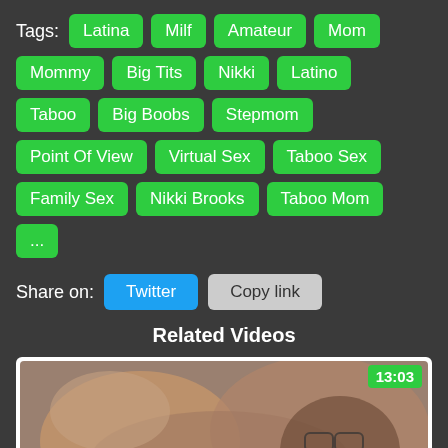Tags: Latina  Milf  Amateur  Mom  Mommy  Big Tits  Nikki  Latino  Taboo  Big Boobs  Stepmom  Point Of View  Virtual Sex  Taboo Sex  Family Sex  Nikki Brooks  Taboo Mom  ...
Share on: Twitter  Copy link
Related Videos
[Figure (photo): Video thumbnail showing a person, with a green duration badge reading 13:03 in the top-right corner.]